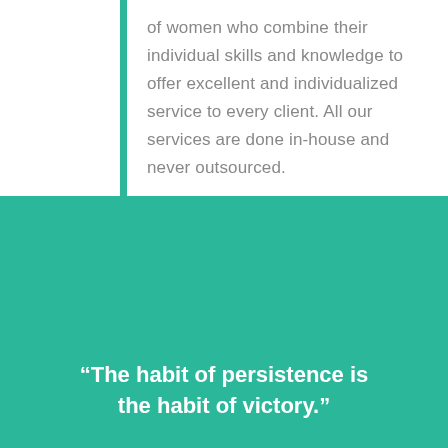of women who combine their individual skills and knowledge to offer excellent and individualized service to every client. All our services are done in-house and never outsourced.
“The habit of persistence is the habit of victory.”